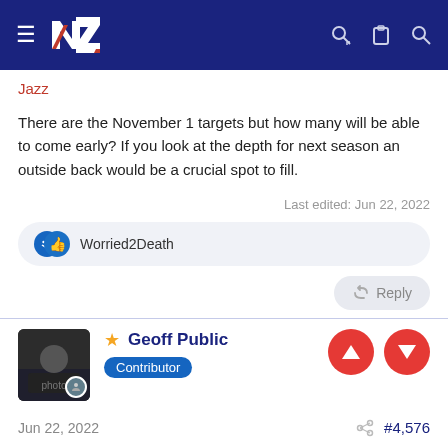MV NZ forum navigation bar
Jazz
There are the November 1 targets but how many will be able to come early? If you look at the depth for next season an outside back would be a crucial spot to fill.
Last edited: Jun 22, 2022
Worried2Death
Reply
Geoff Public
Contributor
Jun 22, 2022
#4,576